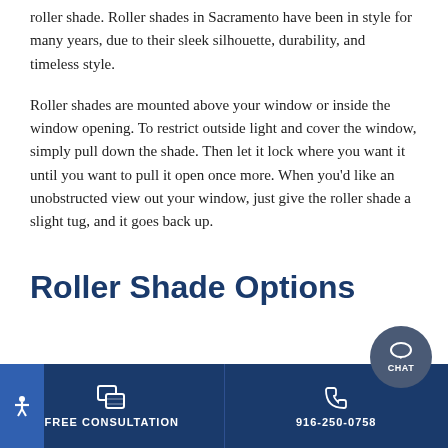roller shade. Roller shades in Sacramento have been in style for many years, due to their sleek silhouette, durability, and timeless style.
Roller shades are mounted above your window or inside the window opening. To restrict outside light and cover the window, simply pull down the shade. Then let it lock where you want it until you want to pull it open once more. When you'd like an unobstructed view out your window, just give the roller shade a slight tug, and it goes back up.
Roller Shade Options
FREE CONSULTATION | 916-250-0758